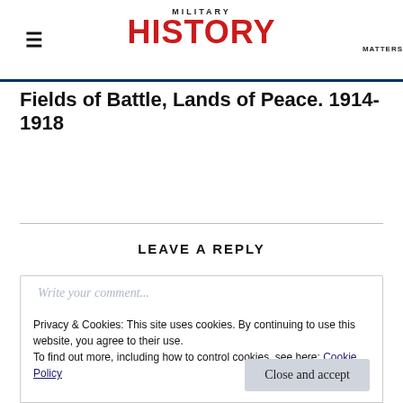MILITARY HISTORY MATTERS
Fields of Battle, Lands of Peace. 1914-1918
LEAVE A REPLY
Write your comment...
Privacy & Cookies: This site uses cookies. By continuing to use this website, you agree to their use.
To find out more, including how to control cookies, see here: Cookie Policy
Close and accept